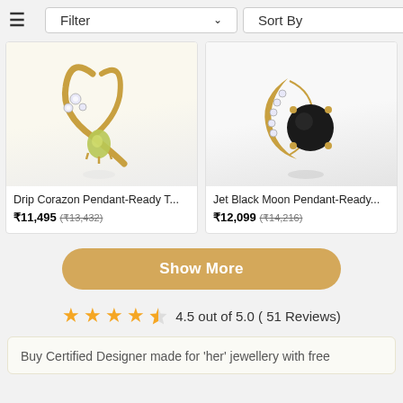≡  Filter ˅  Sort By ˅
[Figure (photo): Drip Corazon gold pendant with green gemstone and diamonds on white background]
Drip Corazon Pendant-Ready T...
₹11,495  (₹13,432)
[Figure (photo): Jet Black Moon gold pendant with black gemstone on white background]
Jet Black Moon Pendant-Ready...
₹12,099  (₹14,216)
Show More
4.5 out of 5.0 ( 51 Reviews)
Buy Certified Designer made for 'her' jewellery with free